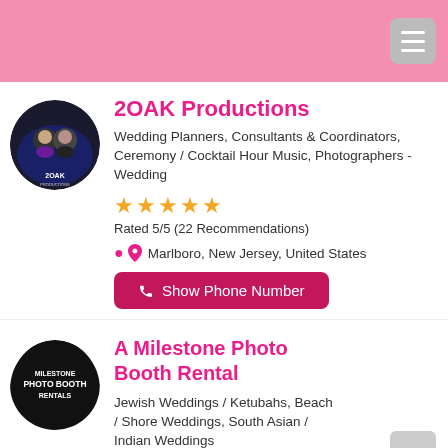2OAK Productions
Wedding Planners, Consultants & Coordinators, Ceremony / Cocktail Hour Music, Photographers - Wedding
★★★★★ Rated 5/5 (22 Recommendations)
📍 Marlboro, New Jersey, United States
Show Phone Number
[Figure (logo): 2OAK Productions circular logo with two people in dark background]
A Milestone Photo Booth Rental
Jewish Weddings / Ketubahs, Beach / Shore Weddings, South Asian / Indian Weddings
📍 Marlboro, New Jersey, United States
[Figure (logo): Milestone Photo Booth Rentals circular logo on black background]